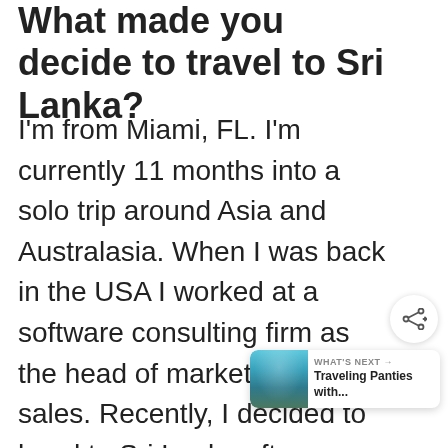What made you decide to travel to Sri Lanka?
I'm from Miami, FL. I'm currently 11 months into a solo trip around Asia and Australasia. When I was back in the USA I worked at a software consulting firm as the head of marketing and sales. Recently, I decided to head to Sri Lanka after spending a few months in South East Asia, as I was intrigued to see the place played a large role in spreading Buddhism in the region